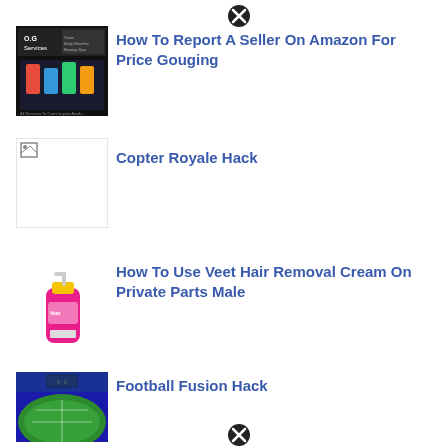[Figure (other): Close/dismiss icon (X in circle) near top center]
[Figure (photo): OG Services logo image - black background with text and products]
How To Report A Seller On Amazon For Price Gouging
[Figure (other): Broken image placeholder with small broken-image icon]
Copter Royale Hack
[Figure (photo): Pink/yellow Veet hair removal cream bottle illustration]
How To Use Veet Hair Removal Cream On Private Parts Male
[Figure (photo): Football stadium aerial view with green field and blue lighting]
Football Fusion Hack
[Figure (other): Close/dismiss icon (X in circle) near bottom center]